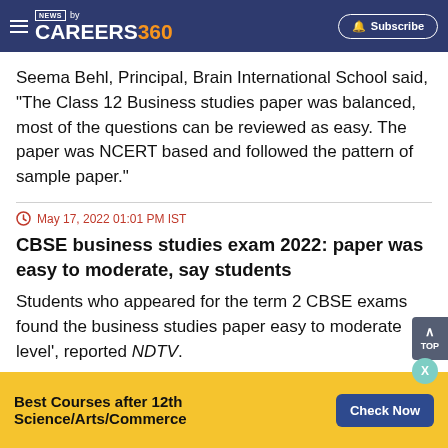NEWS by CAREERS360  Subscribe
Seema Behl, Principal, Brain International School said, "The Class 12 Business studies paper was balanced, most of the questions can be reviewed as easy. The paper was NCERT based and followed the pattern of sample paper."
May 17, 2022 01:01 PM IST
CBSE business studies exam 2022: paper was easy to moderate, say students
Students who appeared for the term 2 CBSE exams found the business studies paper easy to moderate level', reported NDTV.
Best Courses after 12th Science/Arts/Commerce  Check Now